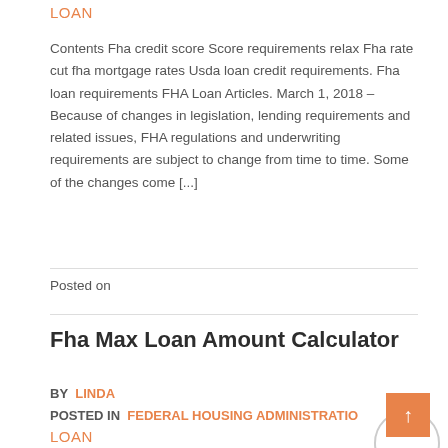LOAN
Contents Fha credit score Score requirements relax Fha rate cut fha mortgage rates Usda loan credit requirements. Fha loan requirements FHA Loan Articles. March 1, 2018 – Because of changes in legislation, lending requirements and related issues, FHA regulations and underwriting requirements are subject to change from time to time. Some of the changes come [...]
Posted on
Fha Max Loan Amount Calculator
BY LINDA
POSTED IN FEDERAL HOUSING ADMINISTRATION LOAN